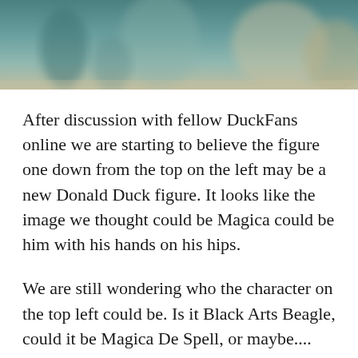[Figure (photo): Blurred/cropped image strip at the top of the page showing indistinct figures against a teal/blue-grey background]
After discussion with fellow DuckFans online we are starting to believe the figure one down from the top on the left may be a new Donald Duck figure. It looks like the image we thought could be Magica could be him with his hands on his hips.
We are still wondering who the character on the top left could be. Is it Black Arts Beagle, could it be Magica De Spell, or maybe.... Don Karnage!?